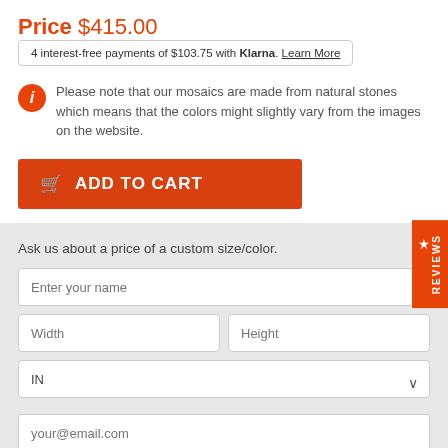Price $415.00
4 interest-free payments of $103.75 with Klarna. Learn More
Please note that our mosaics are made from natural stones which means that the colors might slightly vary from the images on the website.
ADD TO CART
Ask us about a price of a custom size/color.
Enter your name
Width
Height
IN
your@email.com